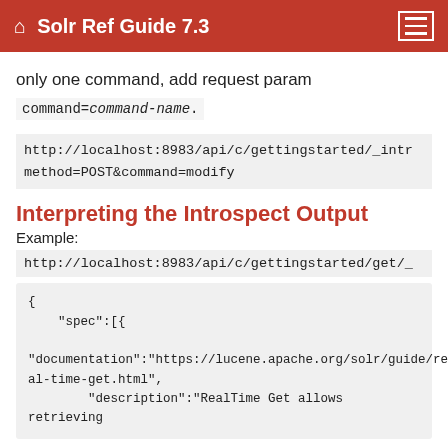Solr Ref Guide 7.3
only one command, add request param
command=command-name.
http://localhost:8983/api/c/gettingstarted/_intr
method=POST&command=modify
Interpreting the Introspect Output
Example:
http://localhost:8983/api/c/gettingstarted/get/_
{
    "spec":[{

"documentation":"https://lucene.apache.org/solr/guide/re
al-time-get.html",
    "description":"RealTime Get allows retrieving